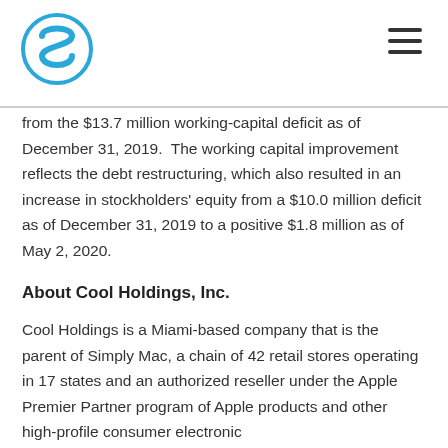Cool Holdings logo and navigation
from the $13.7 million working-capital deficit as of December 31, 2019.  The working capital improvement reflects the debt restructuring, which also resulted in an increase in stockholders' equity from a $10.0 million deficit as of December 31, 2019 to a positive $1.8 million as of May 2, 2020.
About Cool Holdings, Inc.
Cool Holdings is a Miami-based company that is the parent of Simply Mac, a chain of 42 retail stores operating in 17 states and an authorized reseller under the Apple Premier Partner program of Apple products and other high-profile consumer electronic brands. Additionally, for the number of product it